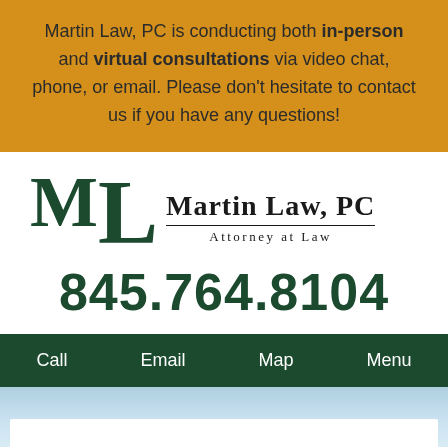Martin Law, PC is conducting both in-person and virtual consultations via video chat, phone, or email. Please don't hesitate to contact us if you have any questions!
[Figure (logo): Martin Law, PC Attorney at Law logo with stylized ML letters in dark green]
845.764.8104
Call  Email  Map  Menu
[Figure (photo): Partial sky/cloud photo strip at bottom of page]